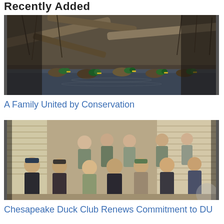Recently Added
[Figure (photo): Photo of mallard duck decoys arranged near driftwood and reeds by water]
A Family United by Conservation
[Figure (photo): Group photo of approximately 11 men posing indoors, some in hunting/outdoor attire]
Chesapeake Duck Club Renews Commitment to DU